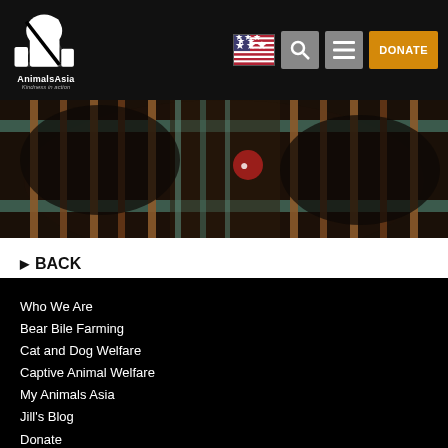AnimalsAsia - Kindness in action
[Figure (photo): Close-up photo of a bear behind metal cage bars]
▶ BACK
Who We Are
Bear Bile Farming
Cat and Dog Welfare
Captive Animal Welfare
My Animals Asia
Jill's Blog
Donate